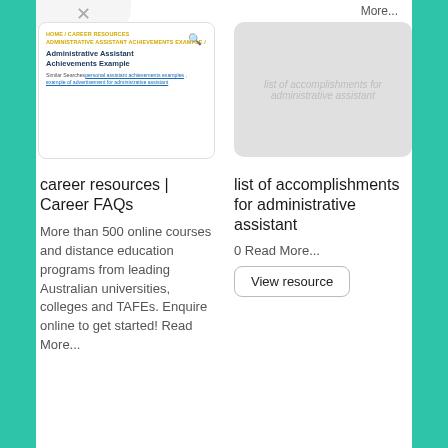More...
View resource
[Figure (screenshot): Screenshot thumbnail of a webpage showing breadcrumb navigation (HOME / CAREER RESOURCES / ADMINISTRATIVE ASSISTANT ACHIEVEMENTS EXAMPLE), page title 'Administrative Assistant Achievements Example', and similar searches links.]
[Figure (photo): Placeholder image area showing text 'list of accomplishments for administrative assistant' in light gray]
career resources | Career FAQs
More than 500 online courses and distance education programs from leading Australian universities, colleges and TAFEs. Enquire online to get started! Read More...
list of accomplishments for administrative assistant
0 Read More...
View resource